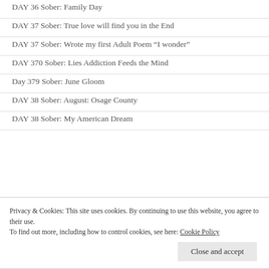DAY 36 Sober: Family Day
DAY 37 Sober: True love will find you in the End
DAY 37 Sober: Wrote my first Adult Poem "I wonder"
DAY 370 Sober: Lies Addiction Feeds the Mind
Day 379 Sober: June Gloom
DAY 38 Sober: August: Osage County
DAY 38 Sober: My American Dream
Privacy & Cookies: This site uses cookies. By continuing to use this website, you agree to their use.
To find out more, including how to control cookies, see here: Cookie Policy
Close and accept